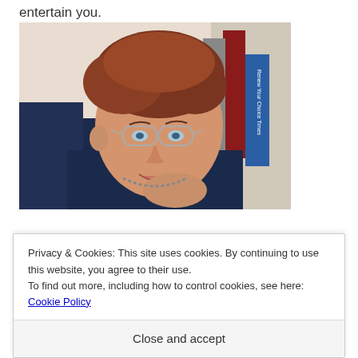entertain you.
[Figure (photo): A smiling middle-aged woman with short reddish-brown hair and glasses, resting her chin on her hand, with bookshelves in the background.]
Privacy & Cookies: This site uses cookies. By continuing to use this website, you agree to their use.
To find out more, including how to control cookies, see here: Cookie Policy
Close and accept